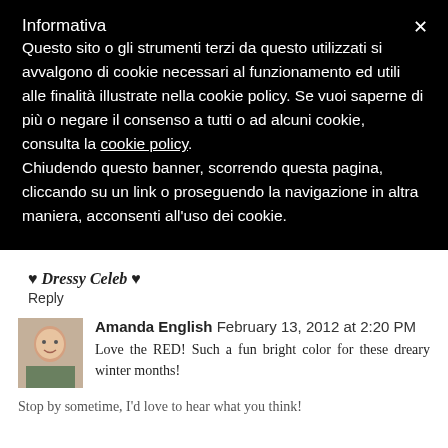Informativa
Questo sito o gli strumenti terzi da questo utilizzati si avvalgono di cookie necessari al funzionamento ed utili alle finalità illustrate nella cookie policy. Se vuoi saperne di più o negare il consenso a tutti o ad alcuni cookie, consulta la cookie policy. Chiudendo questo banner, scorrendo questa pagina, cliccando su un link o proseguendo la navigazione in altra maniera, acconsenti all'uso dei cookie.
♥ Dressy Celeb ♥
Reply
Amanda English  February 13, 2012 at 2:20 PM
Love the RED! Such a fun bright color for these dreary winter months!
Stop by sometime, I'd love to hear what you think!